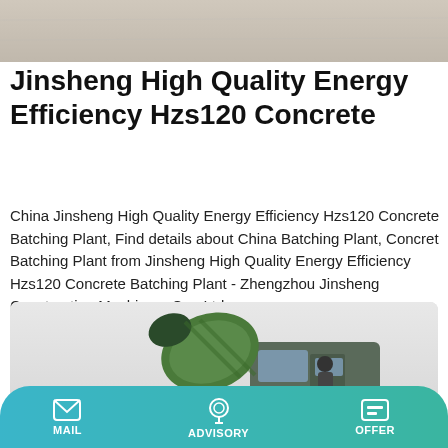[Figure (photo): Top portion of a concrete plant or structure — light beige/grey surface visible at top of page]
Jinsheng High Quality Energy Efficiency Hzs120 Concrete
China Jinsheng High Quality Energy Efficiency Hzs120 Concrete Batching Plant, Find details about China Batching Plant, Concret Batching Plant from Jinsheng High Quality Energy Efficiency Hzs120 Concrete Batching Plant - Zhengzhou Jinsheng Construction Machinery Co., Ltd.
[Figure (photo): A green concrete mixer truck with a person (driver) visible in the cab, photographed against a light grey background]
MAIL   ADVISORY   OFFER